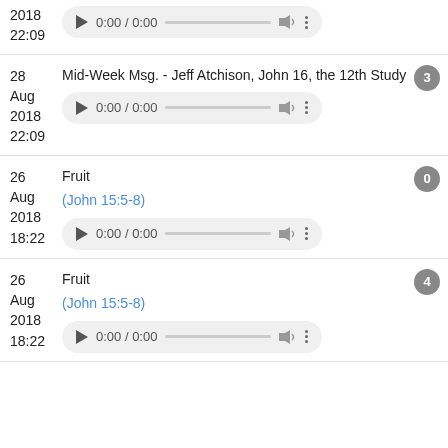2018 22:09 — (partial top entry audio player)
28 Aug 2018 22:09 — Mid-Week Msg. - Jeff Atchison, John 16, the 12th Study — badge: 3
26 Aug 2018 18:22 — Fruit (John 15:5-8) — badge: 0
26 Aug 2018 18:22 — Fruit (John 15:5-8) — badge: 4